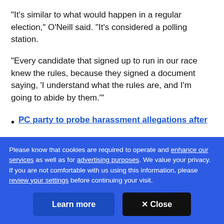"It's similar to what would happen in a regular election," O'Neill said. "It's considered a polling station.
"Every candidate that signed up to run in our race knew the rules, because they signed a document saying, 'I understand what the rules are, and I'm going to abide by them.'"
PC party to probe harassment allegations after
Please know that cookies are required to operate and enhance our services as well as for advertising purposes. We value your privacy. If you are not comfortable with us using this information, please review your settings before continuing your visit.